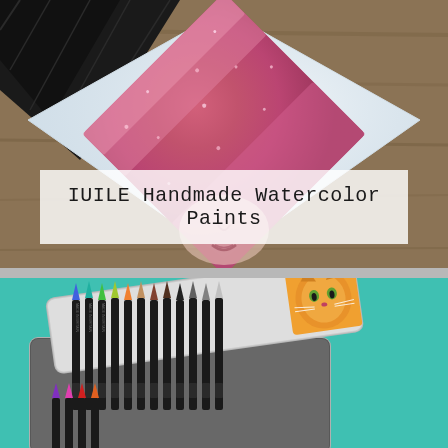[Figure (photo): Close-up photo of a watercolor paint swatch on white paper with a diamond/square orientation, showing a shimmery metallic pink/rose color. A black fabric or material is visible at the top left. The background is a wooden surface.]
IUILE Handmade Watercolor Paints
[Figure (photo): Photo of a tin box of colored pencils (Derwent brand) open on a teal/mint green surface. The pencils are black-bodied with colorful tips arranged in a row. The tin lid shows an illustration of a cat/fox face.]